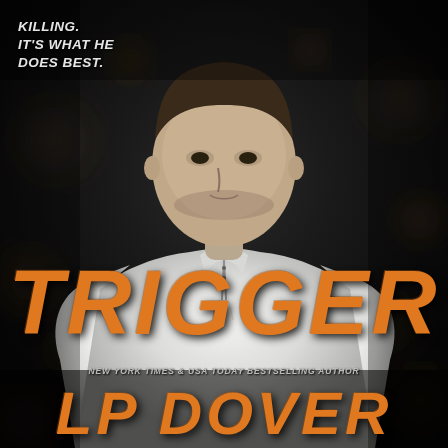[Figure (illustration): Book cover image: A muscular man in a white henley shirt with a stern expression, photographed from chest up against a dark, moody background with blurred bokeh lighting effects]
KILLING. IT'S WHAT HE DOES BEST.
TRIGGER
NEW YORK TIMES & USA TODAY BESTSELLING AUTHOR
LP DOVER